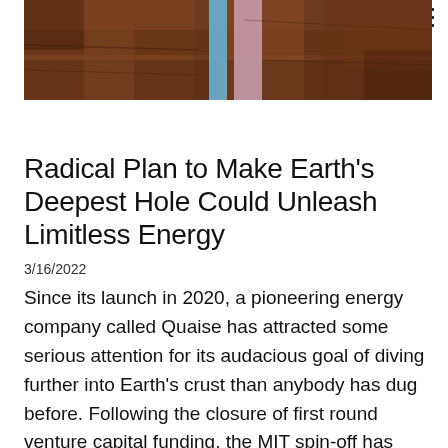[Figure (photo): A close-up photograph of Earth's rock/soil core sample with two thin vertical stripes — one blue and one pinkish/mauve — running through a brownish rocky material]
Radical Plan to Make Earth's Deepest Hole Could Unleash Limitless Energy
3/16/2022
Since its launch in 2020, a pioneering energy company called Quaise has attracted some serious attention for its audacious goal of diving further into Earth's crust than anybody has dug before. Following the closure of first round venture capital funding, the MIT spin-off has now raised a total of US$63 million: a respectable start that